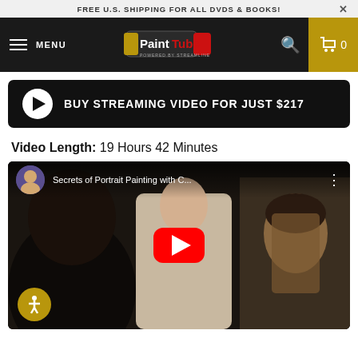FREE U.S. SHIPPING FOR ALL DVDS & BOOKS!
[Figure (screenshot): PaintTube navigation bar with hamburger menu, PaintTube logo (powered by Streamline), search icon, and cart with 0 items on dark background]
BUY STREAMING VIDEO FOR JUST $217
Video Length: 19 Hours 42 Minutes
[Figure (screenshot): YouTube video thumbnail for 'Secrets of Portrait Painting with C...' showing an artist painting a portrait of a woman, with YouTube play button overlay and accessibility button]